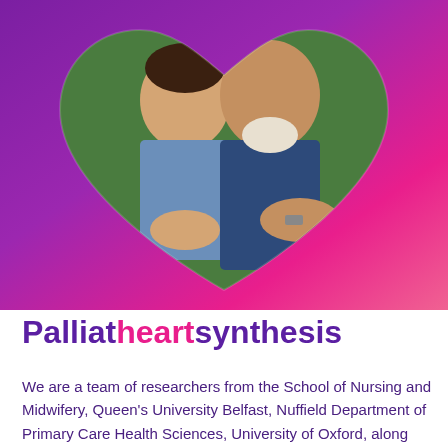[Figure (photo): Two men smiling together outdoors, shown inside a heart-shaped frame on a purple-to-pink gradient background. One younger man with dark hair and the other an older man with white beard.]
Palliatheartsynthesis
We are a team of researchers from the School of Nursing and Midwifery, Queen's University Belfast, Nuffield Department of Primary Care Health Sciences, University of Oxford, along with Patient and Public Involvement from the British Heart Foundation London heart failure group. We are all passionate about improving the quality of life of people living